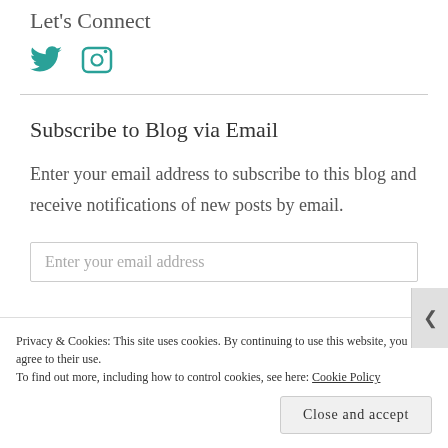Let's Connect
[Figure (illustration): Teal/green Twitter bird icon and teal/green Instagram camera icon]
Subscribe to Blog via Email
Enter your email address to subscribe to this blog and receive notifications of new posts by email.
Enter your email address (input field placeholder)
Privacy & Cookies: This site uses cookies. By continuing to use this website, you agree to their use. To find out more, including how to control cookies, see here: Cookie Policy
Close and accept